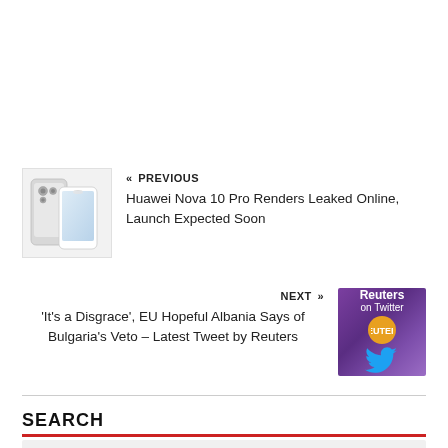« PREVIOUS
Huawei Nova 10 Pro Renders Leaked Online, Launch Expected Soon
NEXT »
'It's a Disgrace', EU Hopeful Albania Says of Bulgaria's Veto – Latest Tweet by Reuters
SEARCH